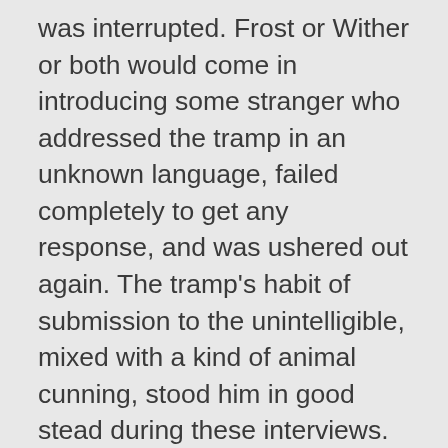was interrupted. Frost or Wither or both would come in introducing some stranger who addressed the tramp in an unknown language, failed completely to get any response, and was ushered out again. The tramp's habit of submission to the unintelligible, mixed with a kind of animal cunning, stood him in good stead during these interviews. It would never have occurred to him to undeceive his captors by replying in English. Undeceiving was an activity wholly foreign to his mind. For the rest, his expression of tranquil indifference, varied occasionally by extremely sharp looks but never by the least sign of anxiety or bewilderment, left his interrogators mystified.